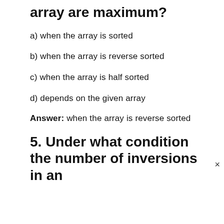array are maximum?
a) when the array is sorted
b) when the array is reverse sorted
c) when the array is half sorted
d) depends on the given array
Answer: when the array is reverse sorted
5. Under what condition the number of inversions in an